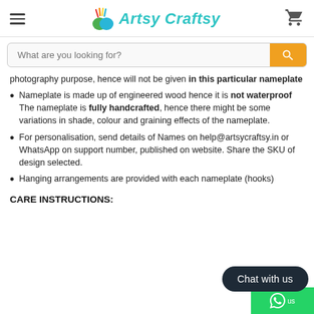Artsy Craftsy
What are you looking for?
photography purpose, hence will not be given in this particular nameplate
Nameplate is made up of engineered wood hence it is not waterproof The nameplate is fully handcrafted, hence there might be some variations in shade, colour and graining effects of the nameplate.
For personalisation, send details of Names on help@artsycraftsy.in or WhatsApp on support number, published on website. Share the SKU of design selected.
Hanging arrangements are provided with each nameplate (hooks)
CARE INSTRUCTIONS: